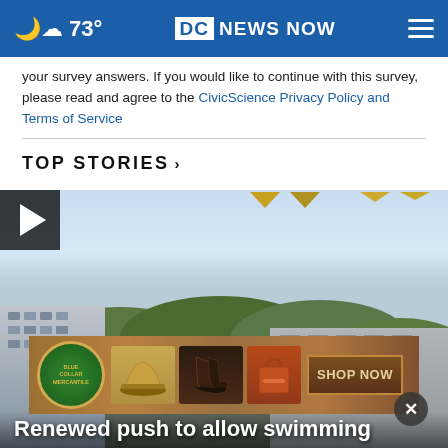73° DC NEWS NOW
your survey answers. If you would like to continue with this survey, please read and agree to the CivicScience Privacy Policy and Terms of Service
TOP STORIES ›
[Figure (screenshot): Video thumbnail showing outdoor scene with buildings, trees and colorful pennant flags in the sky. Play button in top left corner.]
[Figure (photo): Advertisement banner for Blue Collar Mercantile showing cowboy hats, boots, and bags with SHOP NOW button]
Renewed push to allow swimming